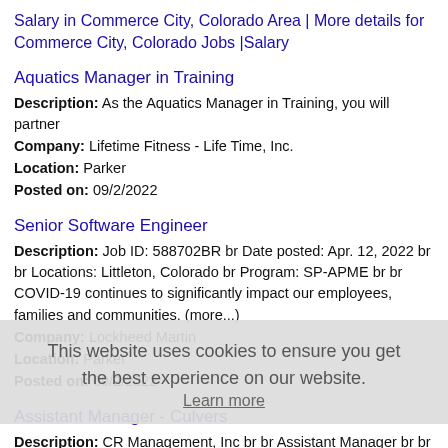Salary in Commerce City, Colorado Area | More details for Commerce City, Colorado Jobs |Salary
Aquatics Manager in Training
Description: As the Aquatics Manager in Training, you will partner
Company: Lifetime Fitness - Life Time, Inc.
Location: Parker
Posted on: 09/2/2022
Senior Software Engineer
Description: Job ID: 588702BR br Date posted: Apr. 12, 2022 br br Locations: Littleton, Colorado br Program: SP-APME br br COVID-19 continues to significantly impact our employees, families and communities. (more...)
Company: Lockheed Martin
Location: Parker
Posted on: 09/2/2022
Assistant Manager - Culvers
Description: CR Management, Inc br br Assistant Manager br br Job Description br br Objective br br Maintains excellence in guest service and quality control of operations consistently to ensure the (more...)
Company: Culvers Restaurant